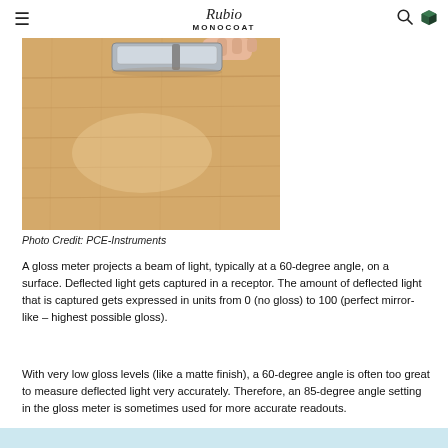Rubio MONOCOAT
[Figure (photo): Photo of a wooden floor surface with a gloss measuring instrument placed on it. The wood has a light tan/oak color with visible grain. A hand is partially visible at the top.]
Photo Credit: PCE-Instruments
A gloss meter projects a beam of light, typically at a 60-degree angle, on a surface. Deflected light gets captured in a receptor. The amount of deflected light that is captured gets expressed in units from 0 (no gloss) to 100 (perfect mirror-like – highest possible gloss).
With very low gloss levels (like a matte finish), a 60-degree angle is often too great to measure deflected light very accurately. Therefore, an 85-degree angle setting in the gloss meter is sometimes used for more accurate readouts.